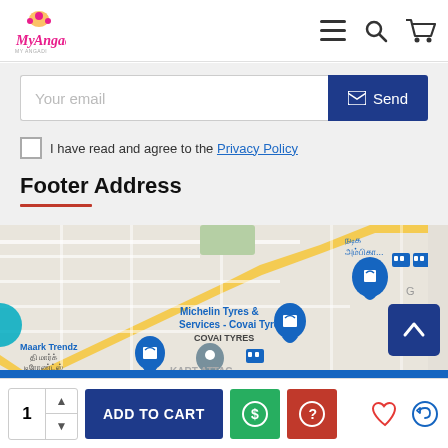My Angadi — navigation header with logo, menu, search, and cart icons
Your email
Send
I have read and agree to the Privacy Policy
Footer Address
[Figure (map): Google Maps screenshot showing a street map with Tamil Nadu locations including Michelin Tyres & Services - Covai Tyres, COVAI TYRES, Maark Trendz (திமார்க் டிரேண்ட்ஸ்), and other local Tamil-labeled places along a yellow highlighted road. Blue location pins and shopping bag markers visible.]
ADD TO CART